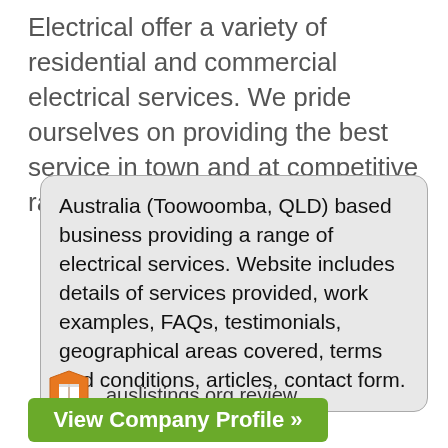Electrical offer a variety of residential and commercial electrical services. We pride ourselves on providing the best service in town and at competitive rates!
Australia (Toowoomba, QLD) based business providing a range of electrical services. Website includes details of services provided, work examples, FAQs, testimonials, geographical areas covered, terms and conditions, articles, contact form.
[Figure (logo): Orange shield/badge shaped icon with a white book/document symbol inside]
auslistings.org review
View Company Profile »